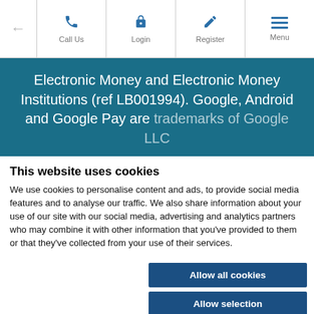← Call Us Login Register Menu
Electronic Money and Electronic Money Institutions (ref LB001994). Google, Android and Google Pay are trademarks of Google LLC
This website uses cookies
We use cookies to personalise content and ads, to provide social media features and to analyse our traffic. We also share information about your use of our site with our social media, advertising and analytics partners who may combine it with other information that you've provided to them or that they've collected from your use of their services.
Allow all cookies
Allow selection
Use necessary cookies only
✓ Necessary   □ Preferences   □ Statistics   □ Marketing   Show details ∨